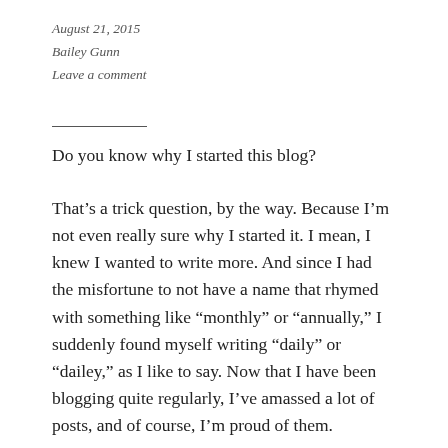August 21, 2015
Bailey Gunn
Leave a comment
Do you know why I started this blog?
That’s a trick question, by the way. Because I’m not even really sure why I started it. I mean, I knew I wanted to write more. And since I had the misfortune to not have a name that rhymed with something like “monthly” or “annually,” I suddenly found myself writing “daily” or “dailey,” as I like to say. Now that I have been blogging quite regularly, I’ve amassed a lot of posts, and of course, I’m proud of them.